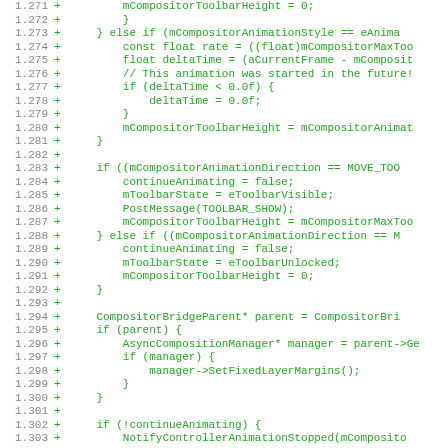[Figure (screenshot): Code diff view showing lines 1.271 to 1.303 of C++ source code, with line numbers in grey on the left, green plus signs indicating added lines, and green code text on a white background.]